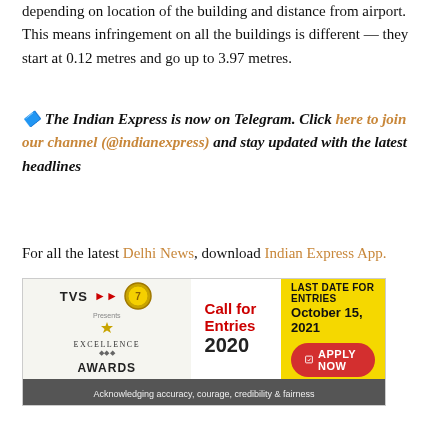depending on location of the building and distance from airport. This means infringement on all the buildings is different — they start at 0.12 metres and go up to 3.97 metres.
🔷 The Indian Express is now on Telegram. Click here to join our channel (@indianexpress) and stay updated with the latest headlines
For all the latest Delhi News, download Indian Express App.
[Figure (infographic): TVS Excellence Awards 2020 advertisement. Left section shows TVS logo with running deer, presents text, diamond, Excellence Awards logo. Center shows 'Call for Entries 2020' in red and black. Right yellow section shows 'LAST DATE FOR ENTRIES October 15, 2021' and a red 'APPLY NOW' button. Bottom grey bar: 'Acknowledging accuracy, courage, credibility & fairness'.]